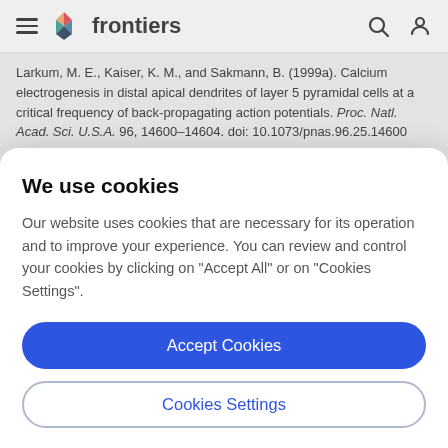frontiers
Larkum, M. E., Kaiser, K. M., and Sakmann, B. (1999a). Calcium electrogenesis in distal apical dendrites of layer 5 pyramidal cells at a critical frequency of back-propagating action potentials. Proc. Natl. Acad. Sci. U.S.A. 96, 14600–14604. doi: 10.1073/pnas.96.25.14600
Pubmed Abstract | Pubmed Full Text | CrossRef Full Text
We use cookies
Our website uses cookies that are necessary for its operation and to improve your experience. You can review and control your cookies by clicking on "Accept All" or on "Cookies Settings".
Accept Cookies
Cookies Settings